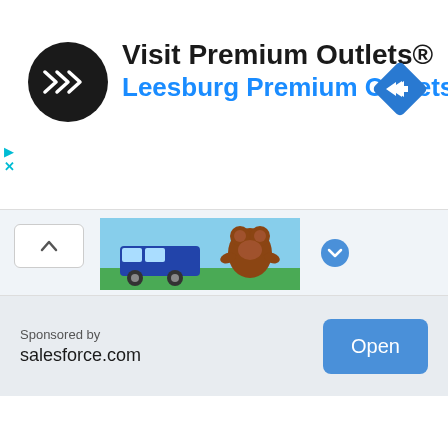[Figure (screenshot): Mobile advertisement banner for Premium Outlets with black circular logo containing double arrow icon, text 'Visit Premium Outlets®' and 'Leesburg Premium Outlets' in blue, and blue diamond navigation icon on right. Left side has cyan play and X icons.]
[Figure (screenshot): Collapsed panel section with up chevron button and partial game/app image showing a cartoon bear with a bus.]
Sponsored by
salesforce.com
[Figure (screenshot): Blue 'Open' button]